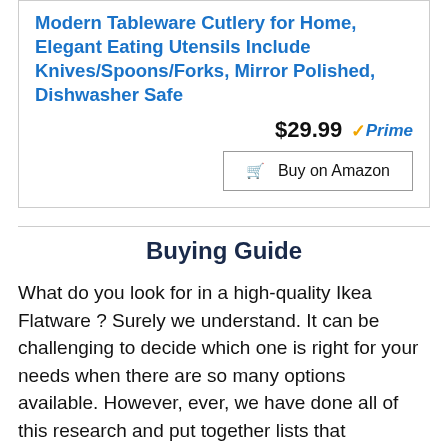Modern Tableware Cutlery for Home, Elegant Eating Utensils Include Knives/Spoons/Forks, Mirror Polished, Dishwasher Safe
$29.99 ✓Prime
Buy on Amazon
Buying Guide
What do you look for in a high-quality Ikea Flatware ? Surely we understand. It can be challenging to decide which one is right for your needs when there are so many options available. However, ever, we have done all of this research and put together lists that